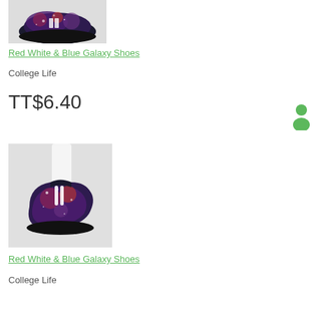[Figure (photo): Partial image of Red White & Blue Galaxy Shoes - high-top sneakers with galaxy print, black sole, shown from above/side angle, cropped at top of page]
Red White & Blue Galaxy Shoes
College Life
TT$6.40
[Figure (photo): Red White & Blue Galaxy Shoes - high-top sneakers with galaxy print, black sole, white laces, shown on a white mannequin leg/foot, side view]
Red White & Blue Galaxy Shoes
College Life
[Figure (illustration): Small green person/user icon silhouette in the right side of the page]